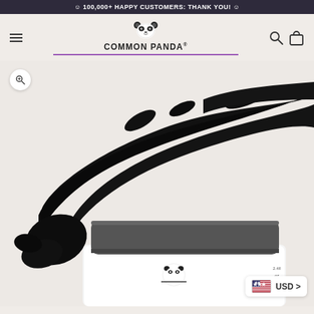☺ 100,000+ HAPPY CUSTOMERS: THANK YOU! ☺
[Figure (logo): Common Panda brand logo with panda face icon and purple underline]
[Figure (photo): Product photo of Common Panda charcoal face mask jar with black charcoal smear above it on a light beige background]
USD >